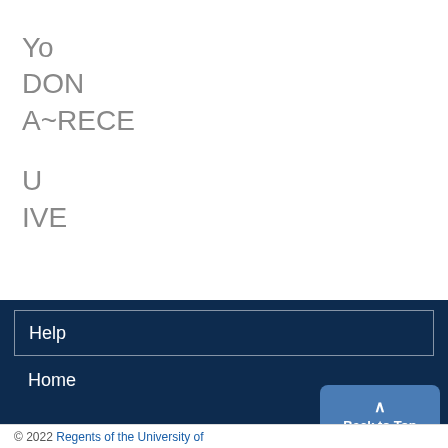Yo
DON
A~RECE
U
IVE
Help
Home
© 2022 Regents of the University of
Back to Top